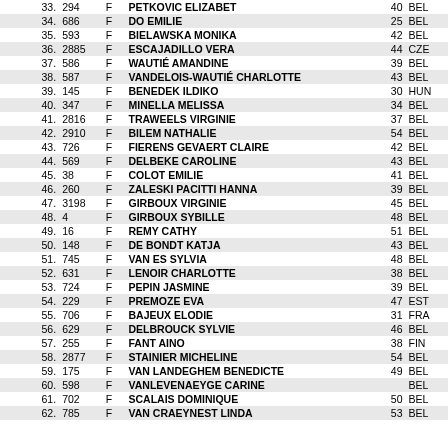| Rank | Bib | Gender | Name | Age | Nat |
| --- | --- | --- | --- | --- | --- |
| 33. | 294 | F | PETKOVIC ELIZABET | 40 | BEL |
| 34. | 686 | F | DO EMILIE | 25 | BEL |
| 35. | 593 | F | BIELAWSKA MONIKA | 42 | BEL |
| 36. | 2885 | F | ESCAJADILLO VERA | 44 | CZE |
| 37. | 586 | F | WAUTIÉ AMANDINE | 39 | BEL |
| 38. | 587 | F | VANDELOIS-WAUTIÉ CHARLOTTE | 43 | BEL |
| 39. | 145 | F | BENEDEK ILDIKO | 30 | HUN |
| 40. | 347 | F | MINELLA MELISSA | 34 | BEL |
| 41. | 2816 | F | TRAWEELS VIRGINIE | 37 | BEL |
| 42. | 2910 | F | BILEM NATHALIE | 54 | BEL |
| 43. | 726 | F | FIERENS GEVAERT CLAIRE | 42 | BEL |
| 44. | 569 | F | DELBEKE CAROLINE | 43 | BEL |
| 45. | 38 | F | COLOT EMILIE | 41 | BEL |
| 46. | 260 | F | ZALESKI PACITTI HANNA | 39 | BEL |
| 47. | 3198 | F | GIRBOUX VIRGINIE | 45 | BEL |
| 48. | 4 | F | GIRBOUX SYBILLE | 48 | BEL |
| 49. | 16 | F | REMY CATHY | 51 | BEL |
| 50. | 148 | F | DE BONDT KATJA | 43 | BEL |
| 51. | 745 | F | VAN ES SYLVIA | 48 | BEL |
| 52. | 631 | F | LENOIR CHARLOTTE | 38 | BEL |
| 53. | 724 | F | PEPIN JASMINE | 39 | BEL |
| 54. | 229 | F | PREMOZE EVA | 47 | EST |
| 55. | 706 | F | BAJEUX ELODIE | 31 | FRA |
| 56. | 629 | F | DELBROUCK SYLVIE | 46 | BEL |
| 57. | 255 | F | FANT AINO | 38 | FIN |
| 58. | 2877 | F | STAINIER MICHELINE | 54 | BEL |
| 59. | 175 | F | VAN LANDEGHEM BENEDICTE | 49 | BEL |
| 60. | 598 | F | VANLEVENAEYGE CARINE |  | BEL |
| 61. | 702 | F | SCALAIS DOMINIQUE | 50 | BEL |
| 62. | 785 | F | VAN CRAEYNEST LINDA | 53 | BEL |